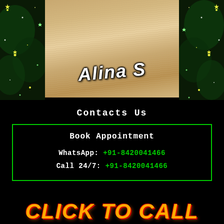[Figure (photo): Photo of a blonde woman in white blazer with name 'Alina' overlaid in cursive text, flanked by green sparkle/star backgrounds on both sides]
Contacts Us
Book Appointment
WhatsApp: +91-8420041466
Call 24/7: +91-8420041466
CLICK TO CALL